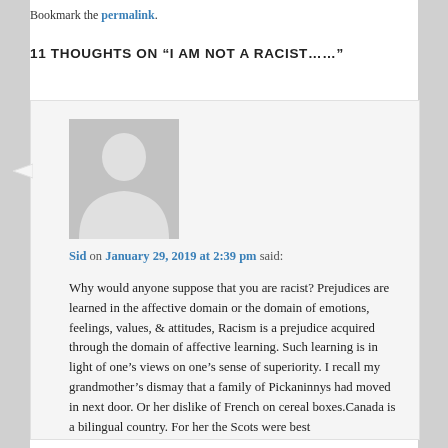Bookmark the permalink.
11 THOUGHTS ON “I AM NOT A RACIST……”
Sid on January 29, 2019 at 2:39 pm said:
Why would anyone suppose that you are racist? Prejudices are learned in the affective domain or the domain of emotions, feelings, values, & attitudes, Racism is a prejudice acquired through the domain of affective learning. Such learning is in light of one’s views on one’s sense of superiority. I recall my grandmother’s dismay that a family of Pickaninnys had moved in next door. Or her dislike of French on cereal boxes.Canada is a bilingual country. For her the Scots were best